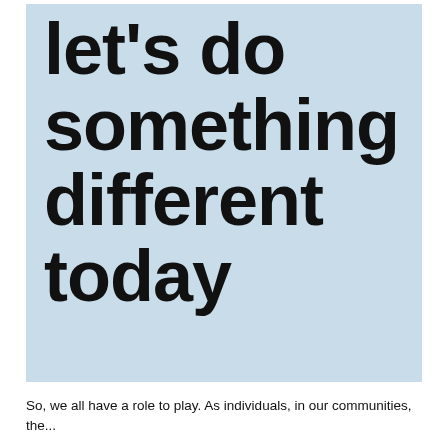[Figure (illustration): Light blue box with large bold black text reading: let's do something different today]
So, we all have a role to play. As individuals, in our communities, the...